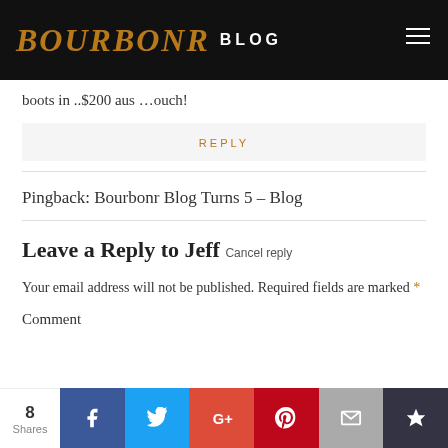BOURBONR BLOG
boots in ..$200 aus …ouch!
REPLY
Pingback: Bourbonr Blog Turns 5 – Blog
Leave a Reply to Jeff Cancel reply
Your email address will not be published. Required fields are marked *
Comment
8 Shares — Facebook, Twitter, Google+, Pinterest, Email, Crown